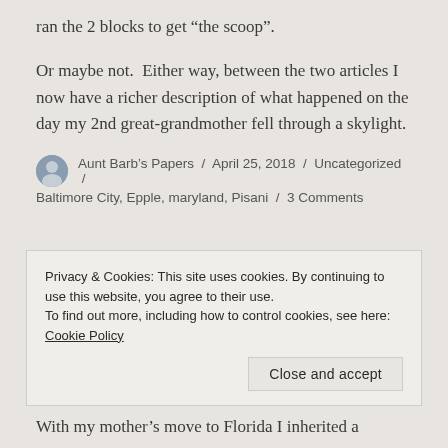ran the 2 blocks to get “the scoop”.
Or maybe not.  Either way, between the two articles I now have a richer description of what happened on the day my 2nd great-grandmother fell through a skylight.
Aunt Barb’s Papers / April 25, 2018 / Uncategorized / Baltimore City, Epple, maryland, Pisani / 3 Comments
Privacy & Cookies: This site uses cookies. By continuing to use this website, you agree to their use.
To find out more, including how to control cookies, see here: Cookie Policy
With my mother’s move to Florida I inherited a